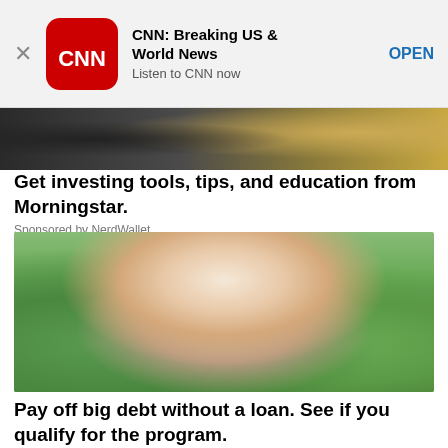[Figure (screenshot): CNN Breaking US & World News app banner with red rounded-square CNN logo, app name, tagline 'Listen to CNN now', and OPEN button]
[Figure (photo): Partial photo of a person handling money/papers, cropped at top of page below banner]
Get investing tools, tips, and education from Morningstar.
Sponsored by NerdWallet
[Figure (photo): Portrait photo of a middle-aged woman with silver/white hair, wearing a blue top and denim jacket, smiling at camera with blurred green outdoor background]
Pay off big debt without a loan. See if you qualify for the program.
Sponsored by Freedom